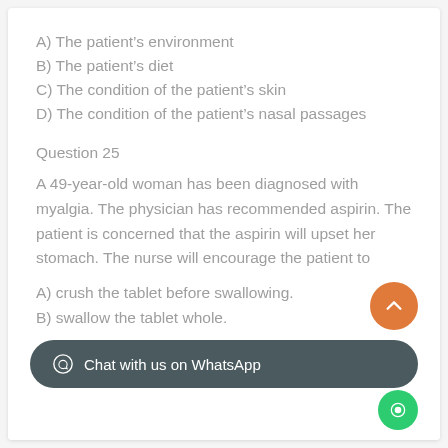A) The patient's environment
B) The patient's diet
C) The condition of the patient's skin
D) The condition of the patient's nasal passages
Question 25
A 49-year-old woman has been diagnosed with myalgia. The physician has recommended aspirin. The patient is concerned that the aspirin will upset her stomach. The nurse will encourage the patient to
A) crush the tablet before swallowing.
B) swallow the tablet whole.
C) swallow the tablet with milk or food.
D) avoid drinking milk for 3 hours after swallowing the